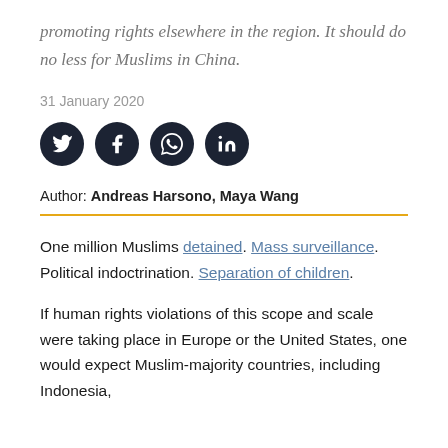promoting rights elsewhere in the region. It should do no less for Muslims in China.
31 January 2020
[Figure (other): Social media share icons: Twitter, Facebook, WhatsApp, LinkedIn]
Author: Andreas Harsono, Maya Wang
One million Muslims detained. Mass surveillance. Political indoctrination. Separation of children.
If human rights violations of this scope and scale were taking place in Europe or the United States, one would expect Muslim-majority countries, including Indonesia,